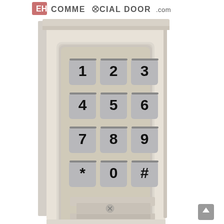COMMERCIAL DOOR .com
[Figure (photo): Close-up photograph of a commercial door keypad entry unit. The keypad is mounted on a beige/cream colored metal housing. It features a 4x3 grid of rectangular grey buttons with black numerals: 1, 2, 3, 4, 5, 6, 7, 8, 9, *, 0, #. Below the keypad is a bottom access panel with a Phillips head screw, and a lower section with another fastener. The unit has a weatherproof, recessed keypad panel with a rounded rectangular surround.]